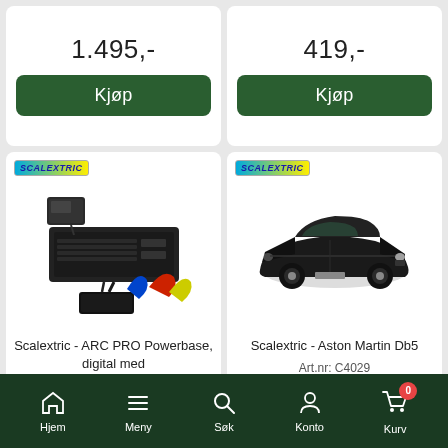1.495,-
Kjøp
419,-
Kjøp
[Figure (photo): Scalextric ARC PRO Powerbase digital set with controllers and power supply on white background]
Scalextric - ARC PRO Powerbase, digital med
Art.nr: C8435
[Figure (photo): Scalextric Aston Martin DB5 black model car on white background]
Scalextric - Aston Martin Db5
Art.nr: C4029
Hjem  Meny  Søk  Konto  Kurv